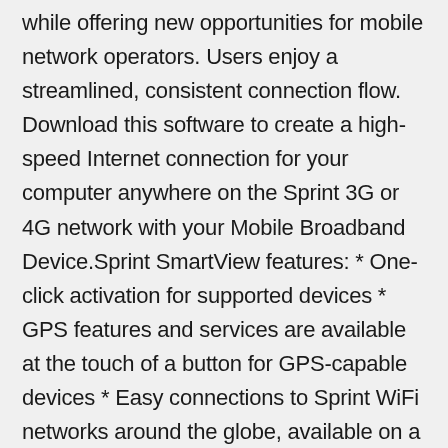while offering new opportunities for mobile network operators. Users enjoy a streamlined, consistent connection flow. Download this software to create a high-speed Internet connection for your computer anywhere on the Sprint 3G or 4G network with your Mobile Broadband Device.Sprint SmartView features: * One-click activation for supported devices * GPS features and services are available at the touch of a button for GPS-capable devices * Easy connections to Sprint WiFi networks around the globe, available on a 10/11/2017 Dejar que Windows administre esta conexión: Determina si el dispositivo con Windows 10 se conectará automáticamente a la red de datos de telefonía móvil cuando esté disponible. Desactiva la casilla si deseas conectarte manualmente cada vez que vayas a usar la conexión de red de datos móviles. To stop future difficulties, Huawei e3372 driver for windows 10 Restore backs up your present drivers and settings to create a restore point so that should you encounter a similar problem, you can use the restore the drivers to the